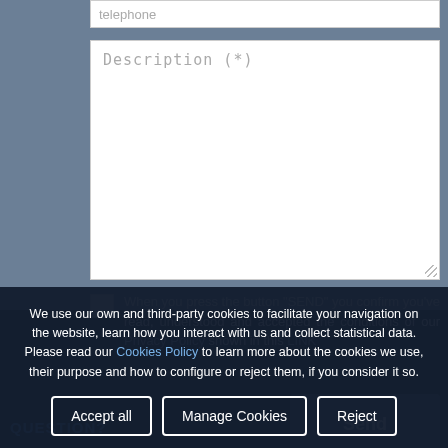telephone
Description (*)
When you press the button “SEND” you confirm you’ve read, understood and accepted the conditions of our Privacy Policy shown in this LINK
Send
We use our own and third-party cookies to facilitate your navigation on the website, learn how you interact with us and collect statistical data. Please read our Cookies Policy to learn more about the cookies we use, their purpose and how to configure or reject them, if you consider it so.
Accept all
Manage Cookies
Reject
QUESTION?